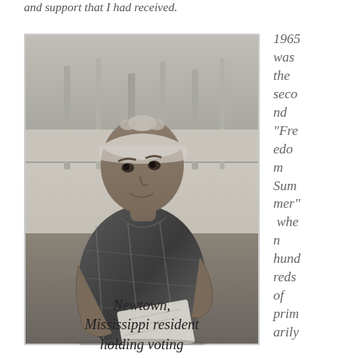and support that I had received.
[Figure (photo): Black and white photograph of a Newtown, Mississippi resident holding voting materials, wearing a headscarf and plaid shirt, outdoors.]
Newtown, Mississippi resident holding voting
1965 was the second “Freedom Summer” when hundreds of primarily